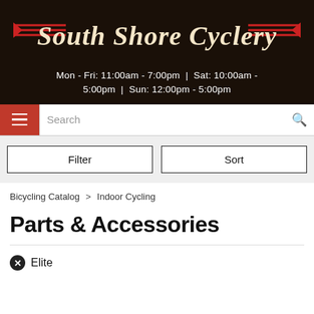[Figure (logo): South Shore Cyclery logo — script text on dark background with red wing accents]
Mon - Fri: 11:00am - 7:00pm | Sat: 10:00am - 5:00pm | Sun: 12:00pm - 5:00pm
Search
Filter
Sort
Bicycling Catalog > Indoor Cycling
Parts & Accessories
Elite